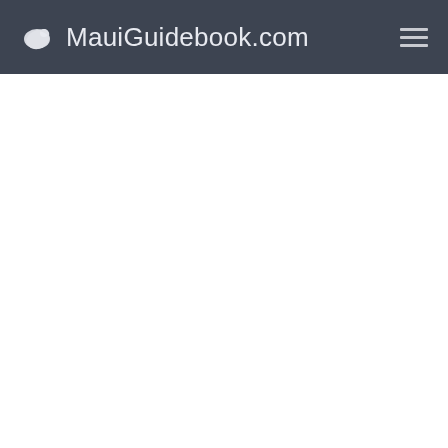MauiGuidebook.com
[Figure (other): White blank content area below the navigation header]